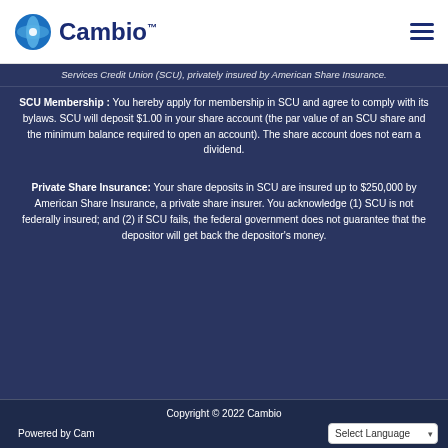Cambio
Services Credit Union (SCU), privately insured by American Share Insurance.
SCU Membership : You hereby apply for membership in SCU and agree to comply with its bylaws. SCU will deposit $1.00 in your share account (the par value of an SCU share and the minimum balance required to open an account). The share account does not earn a dividend.
Private Share Insurance: Your share deposits in SCU are insured up to $250,000 by American Share Insurance, a private share insurer. You acknowledge (1) SCU is not federally insured; and (2) if SCU fails, the federal government does not guarantee that the depositor will get back the depositor's money.
Copyright © 2022 Cambio
Powered by Cambio